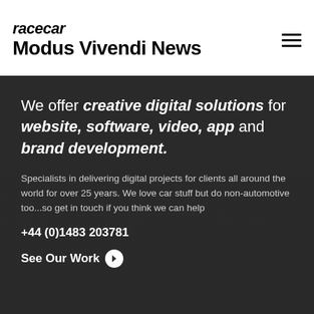racecar Modus Vivendi News
We offer creative digital solutions for website, software, video, app and brand development.
Specialists in delivering digital projects for clients all around the world for over 25 years. We love car stuff but do non-automotive too...so get in touch if you think we can help
+44 (0)1483 203781
See Our Work